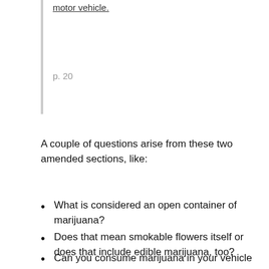motor vehicle.
p. 20
A couple of questions arise from these two amended sections, like:
What is considered an open container of marijuana?
Does that mean smokable flowers itself or does that include edible marijuana, too?
Can you consume marijuana in your vehicle while off of a public highway or parked?
What defines the “passenger area” of the motor vehicle.